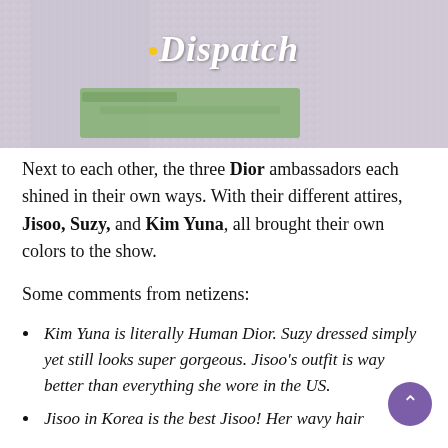[Figure (photo): Close-up photo of a person wearing a fluffy grey/pink textured sweater, with a green floral item visible beneath. The Dispatch logo (white italic text with yellow dot) is overlaid on the image.]
Next to each other, the three Dior ambassadors each shined in their own ways. With their different attires, Jisoo, Suzy, and Kim Yuna, all brought their own colors to the show.
Some comments from netizens:
Kim Yuna is literally Human Dior. Suzy dressed simply yet still looks super gorgeous. Jisoo's outfit is way better than everything she wore in the US.
Jisoo in Korea is the best Jisoo! Her wavy hair